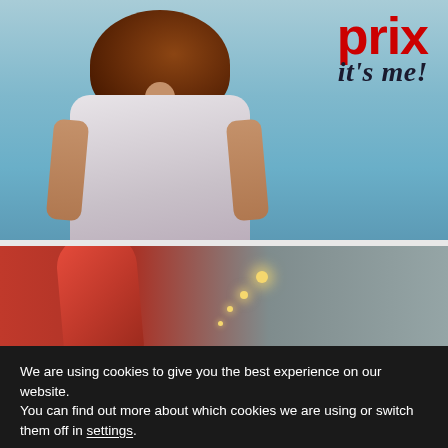[Figure (photo): Top half: photo of a woman with long auburn hair seen from behind, wearing a white sleeveless top, standing in front of a blue ocean/sea. In the upper right corner, the 'prix it's me!' logo is visible in red bold text with italic dark tagline.]
[Figure (photo): Middle band: photo showing a red surfboard on the left and bokeh/defocused lights on a grey background on the right.]
We are using cookies to give you the best experience on our website.
You can find out more about which cookies we are using or switch them off in settings.
Accept
Reject